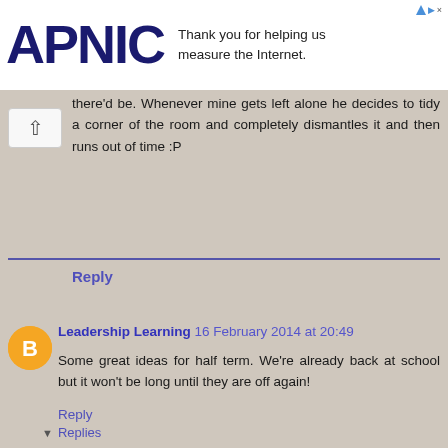[Figure (logo): APNIC logo with ad text: Thank you for helping us measure the Internet.]
there'd be. Whenever mine gets left alone he decides to tidy a corner of the room and completely dismantles it and then runs out of time :P
Reply
Leadership Learning 16 February 2014 at 20:49
Some great ideas for half term. We're already back at school but it won't be long until they are off again!
Reply
▼ Replies
Jenny at The Brick Castle  16 February 2014 at 21:43
I didn't realise your half term was different to ours